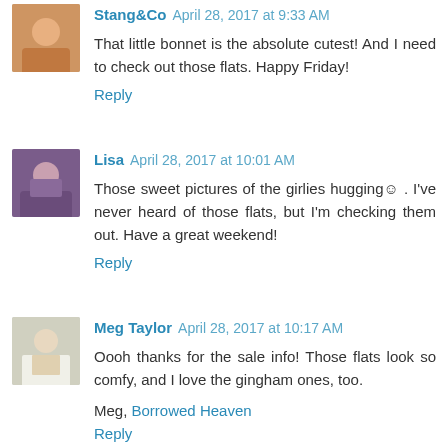Stang&Co April 28, 2017 at 9:33 AM
That little bonnet is the absolute cutest! And I need to check out those flats. Happy Friday!
Reply
Lisa April 28, 2017 at 10:01 AM
Those sweet pictures of the girlies hugging☺. I've never heard of those flats, but I'm checking them out. Have a great weekend!
Reply
Meg Taylor April 28, 2017 at 10:17 AM
Oooh thanks for the sale info! Those flats look so comfy, and I love the gingham ones, too.
Meg, Borrowed Heaven
Reply